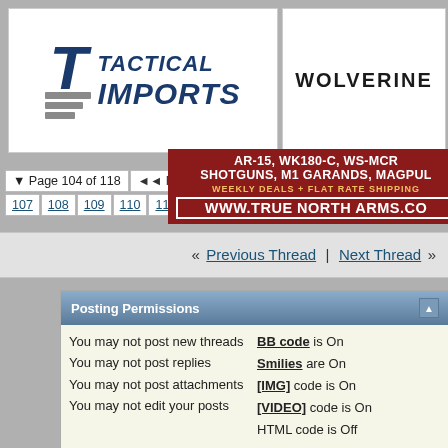[Figure (logo): Tactical Imports logo with blue stylized T and stripe icon]
[Figure (logo): Wolverine logo on white background]
[Figure (screenshot): Red advertisement banner: AR-15, WK180-C, WS-MCR SHOTGUNS, M1 GARANDS, MAGPUL — WEEKLY DEALS + FLAT RATE SHIPPING — www.TrueNorthArms.co]
Page 104 of 118  «« First  ‹  ...  84  94  96  97  98  99  100  101  107  108  109  110  111  112  1
« Previous Thread | Next Thread »
Posting Permissions
You may not post new threads
You may not post replies
You may not post attachments
You may not edit your posts
BB code is On
Smilies are On
[IMG] code is On
[VIDEO] code is On
HTML code is Off
Forum Rules